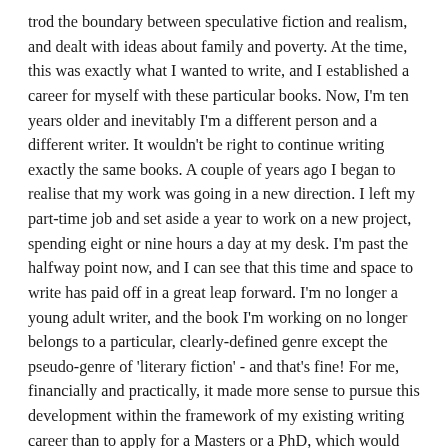trod the boundary between speculative fiction and realism, and dealt with ideas about family and poverty. At the time, this was exactly what I wanted to write, and I established a career for myself with these particular books. Now, I'm ten years older and inevitably I'm a different person and a different writer. It wouldn't be right to continue writing exactly the same books. A couple of years ago I began to realise that my work was going in a new direction. I left my part-time job and set aside a year to work on a new project, spending eight or nine hours a day at my desk. I'm past the halfway point now, and I can see that this time and space to write has paid off in a great leap forward. I'm no longer a young adult writer, and the book I'm working on no longer belongs to a particular, clearly-defined genre except the pseudo-genre of 'literary fiction' - and that's fine! For me, financially and practically, it made more sense to pursue this development within the framework of my existing writing career than to apply for a Masters or a PhD, which would have had its own time-frame at odds with the time-frame best suited to the project. However, if the